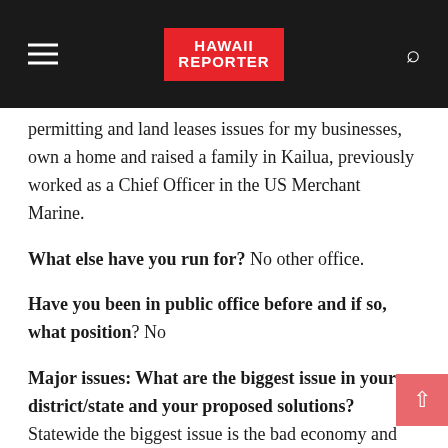HAWAII REPORTER
permitting and land leases issues for my businesses, own a home and raised a family in Kailua, previously worked as a Chief Officer in the US Merchant Marine.
What else have you run for? No other office.
Have you been in public office before and if so, what position? No
Major issues: What are the biggest issue in your district/state and your proposed solutions? Statewide the biggest issue is the bad economy and lack of jobs. My solution is to invigorate the economy through tax incentives, tax cuts across the board, improving the small business climate through deregulation. The next statewide issue is the lack of